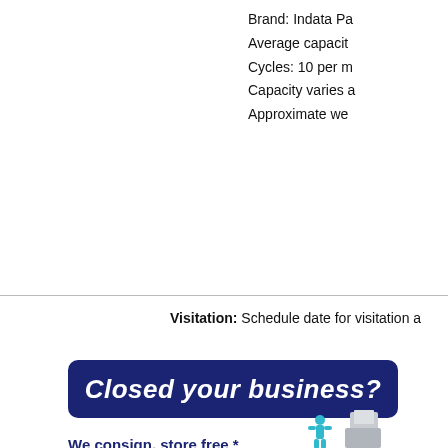Brand: Indata Pa
Average capacity
Cycles: 10 per m
Capacity varies a
Approximate we
Visitation: Schedule date for visitation a
[Figure (other): Dark navy blue rounded rectangle banner with italic bold white text reading 'Closed your business?']
We consign, store free *
and sell your machines.
[Figure (illustration): Illustration of stacked boxes/machines with a blue figure person lifting]